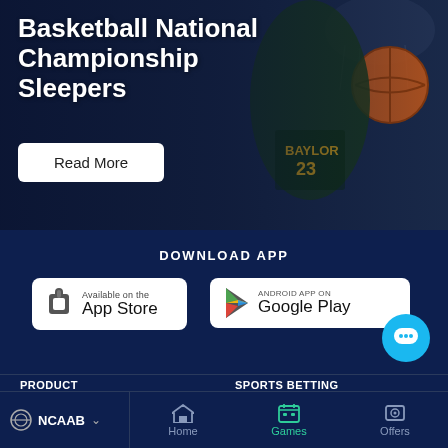[Figure (photo): Basketball player in Baylor #23 jersey dunking, used as hero banner background]
Basketball National Championship Sleepers
Read More
DOWNLOAD APP
[Figure (screenshot): App Store download button]
[Figure (screenshot): Google Play download button]
PRODUCT
SPORTS BETTING
RotoQL
Lines and Odds
NCAAB
Home
Games
Offers